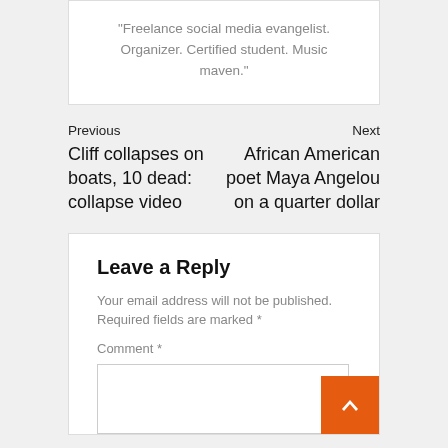"Freelance social media evangelist. Organizer. Certified student. Music maven."
Previous
Cliff collapses on boats, 10 dead: collapse video
Next
African American poet Maya Angelou on a quarter dollar
Leave a Reply
Your email address will not be published.
Required fields are marked *
Comment *